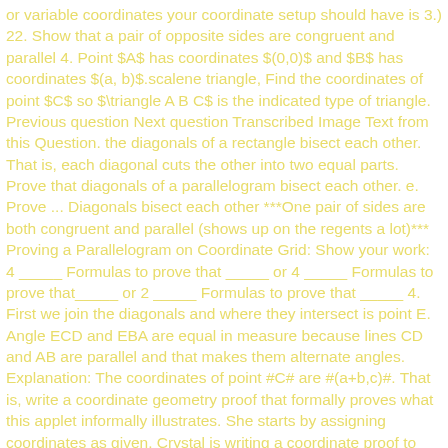or variable coordinates your coordinate setup should have is 3.) 22. Show that a pair of opposite sides are congruent and parallel 4. Point $A$ has coordinates $(0,0)$ and $B$ has coordinates $(a, b)$.scalene triangle, Find the coordinates of point $C$ so $\triangle A B C$ is the indicated type of triangle. Previous question Next question Transcribed Image Text from this Question. the diagonals of a rectangle bisect each other. That is, each diagonal cuts the other into two equal parts. Prove that diagonals of a parallelogram bisect each other. e. Prove ... Diagonals bisect each other ***One pair of sides are both congruent and parallel (shows up on the regents a lot)*** Proving a Parallelogram on Coordinate Grid: Show your work: 4 _____ Formulas to prove that _____ or 4 _____ Formulas to prove that_____ or 2 _____ Formulas to prove that _____ 4. First we join the diagonals and where they intersect is point E. Angle ECD and EBA are equal in measure because lines CD and AB are parallel and that makes them alternate angles. Explanation: The coordinates of point #C# are #(a+b,c)#. That is, write a coordinate geometry proof that formally proves what this applet informally illustrates. She starts by assigning coordinates as given. Crystal is writing a coordinate proof to show that the diagonals of a parallelogram bisect each other. Julia is writing a coordinate proof to show that the diagonals of a parallelogram bisect each other. SURVEY . Mathmate said"The product of the slopes of two lines intersecting at right angles is -1. The coordinates of vertex D are b comma c. Diagonals A C and B D